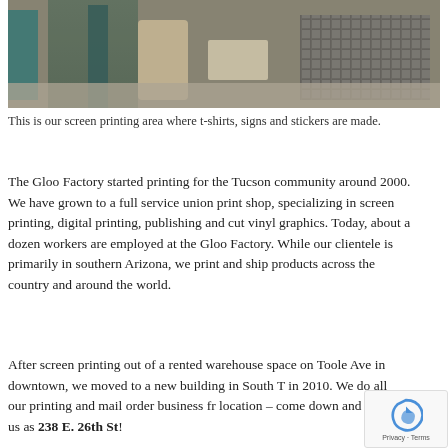[Figure (photo): Screen printing area showing a teal table leg, a paper roll, wire cage/cart on wheels, and a concrete floor with various printing shop equipment.]
This is our screen printing area where t-shirts, signs and stickers are made.
The Gloo Factory started printing for the Tucson community around 2000. We have grown to a full service union print shop, specializing in screen printing, digital printing, publishing and cut vinyl graphics. Today, about a dozen workers are employed at the Gloo Factory. While our clientele is primarily in southern Arizona, we print and ship products across the country and around the world.
After screen printing out of a rented warehouse space on Toole Ave in downtown, we moved to a new building in South T in 2010. We do all our printing and mail order business fr location – come down and see us as 238 E. 26th St!